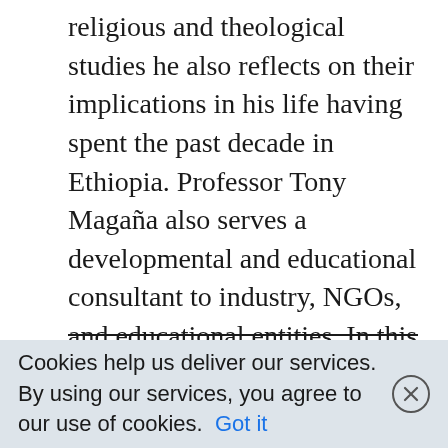religious and theological studies he also reflects on their implications in his life having spent the past decade in Ethiopia. Professor Tony Magaña also serves a developmental and educational consultant to industry, NGOs, and educational entities. In this blog he writes about neurosurgery, medical humanity, and how his experiences have caused him to reflect upon them. Having lived for more then 10 years in Ethiopia he reflects on what he has learned and experienced in Tigray and other regions.
Cookies help us deliver our services. By using our services, you agree to our use of cookies. Got it